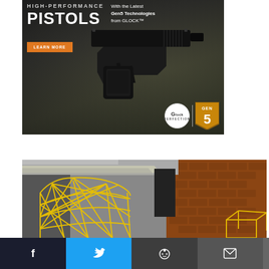[Figure (photo): Glock Gen5 pistol advertisement. Dark background with tactical gear. Text reads HIGH-PERFORMANCE PISTOLS / With the Latest Gen5 Technologies from GLOCK. Orange LEARN MORE button. Glock Perfection logo and GEN 5 badge in bottom right.]
[Figure (photo): Yellow geometric wire-frame structure (geodesic dome-like) in an industrial/garage setting with brick wall background.]
[Figure (infographic): Social sharing bar at bottom with Facebook (dark), Twitter (blue), Reddit (dark gray), and Email (dark gray) buttons with icons.]